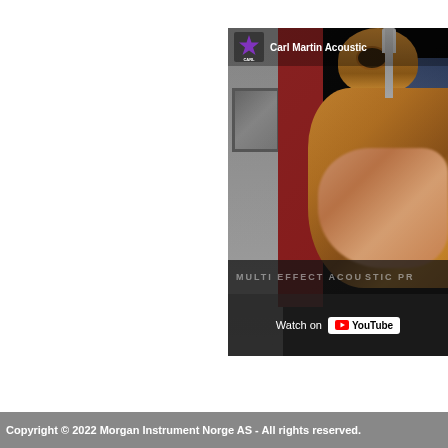[Figure (screenshot): YouTube video embed thumbnail showing a person playing an acoustic guitar in a studio setting. The video is titled 'Carl Martin Acoustic' and shows a Watch on YouTube button overlay. The bottom of the video shows text 'MULTI EFFECT ACOUSTIC PR'. The Carl Martin logo (purple star) is visible in the top left of the video.]
Copyright © 2022 Morgan Instrument Norge AS - All rights reserved.